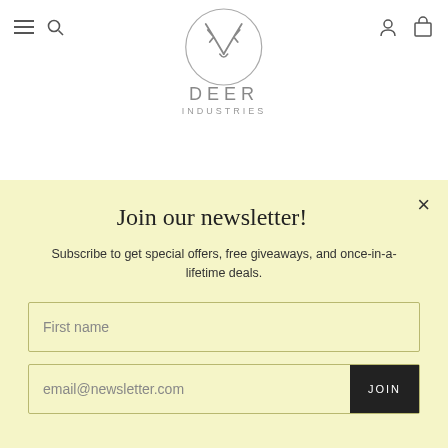Deer Industries — navigation header with hamburger menu, search, account, and cart icons
[Figure (logo): Deer Industries logo: antler illustration above text reading DEER INDUSTRIES in light grey]
Join our newsletter!
Subscribe to get special offers, free giveaways, and once-in-a-lifetime deals.
First name
email@newsletter.com
JOIN